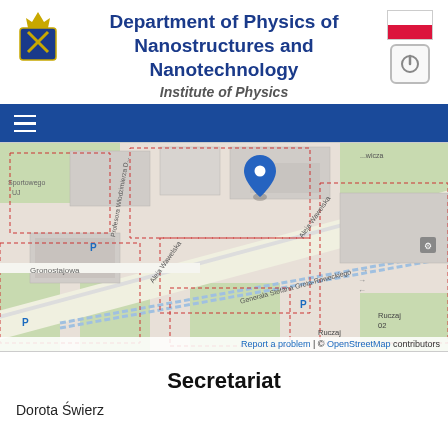Department of Physics of Nanostructures and Nanotechnology
Institute of Physics
[Figure (map): OpenStreetMap showing location in Kraków, Poland near Gronostajowa street and Aleja Wawelska, with a blue map pin marker indicating the department building location. Map shows streets including Generała Stefana Grota-Roweckiego, Ruczaj tram stops, and parking areas. Attribution: Report a problem | © OpenStreetMap contributors]
Secretariat
Dorota Świerz